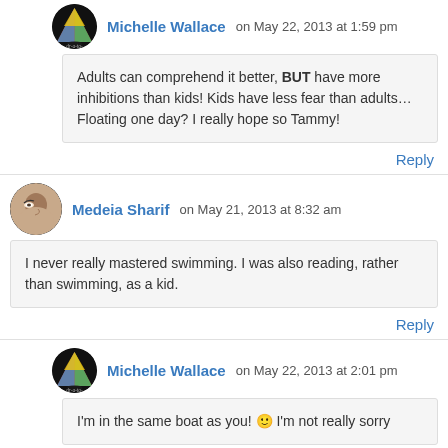Michelle Wallace on May 22, 2013 at 1:59 pm
Adults can comprehend it better, BUT have more inhibitions than kids! Kids have less fear than adults… Floating one day? I really hope so Tammy!
Reply
Medeia Sharif on May 21, 2013 at 8:32 am
I never really mastered swimming. I was also reading, rather than swimming, as a kid.
Reply
Michelle Wallace on May 22, 2013 at 2:01 pm
I'm in the same boat as you! 🙂 I'm not really sorry